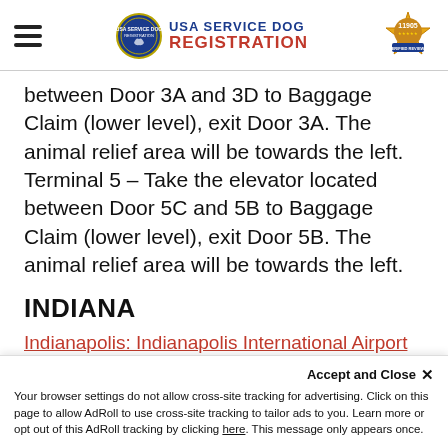USA SERVICE DOG REGISTRATION
between Door 3A and 3D to Baggage Claim (lower level), exit Door 3A. The animal relief area will be towards the left. Terminal 5 – Take the elevator located between Door 5C and 5B to Baggage Claim (lower level), exit Door 5B. The animal relief area will be towards the left.
INDIANA
Indianapolis: Indianapolis International Airport
Accept and Close ✕
Your browser settings do not allow cross-site tracking for advertising. Click on this page to allow AdRoll to use cross-site tracking to tailor ads to you. Learn more or opt out of this AdRoll tracking by clicking here. This message only appears once.